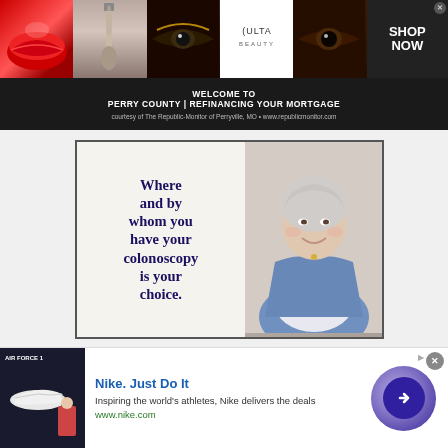[Figure (screenshot): ULTA Beauty banner advertisement with makeup images (lips, brush, eye), ULTA logo, and SHOP NOW call to action]
WELCOME TO PERRY COUNTY | REFINANCING YOUR MORTGAGE
courtesy of The Republic-Monitor of Perryville, MO • www.republicmonitor.com
[Figure (photo): Medical advertisement showing text 'Where and by whom you have your colonoscopy is your choice.' alongside photo of smiling older woman with silver hair in blue blazer]
[Figure (screenshot): Nike. Just Do It advertisement with shoe image, text 'Inspiring the world's athletes, Nike delivers the deals', URL www.nike.com, and arrow button]
Nike. Just Do It
Inspiring the world's athletes, Nike delivers the deals
www.nike.com